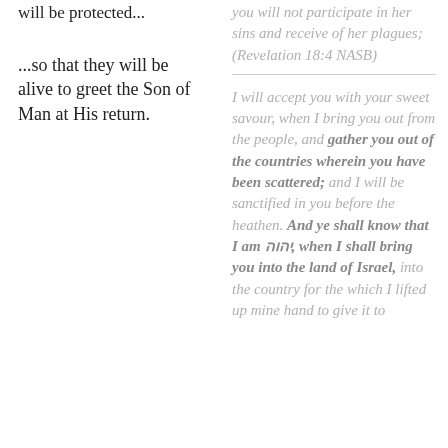will be protected...
...so that they will be alive to greet the Son of Man at His return.
you will not participate in her sins and receive of her plagues; (Revelation 18:4 NASB)
I will accept you with your sweet savour, when I bring you out from the people, and gather you out of the countries wherein you have been scattered; and I will be sanctified in you before the heathen. And ye shall know that I am יהוה, when I shall bring you into the land of Israel, into the country for the which I lifted up mine hand to give it to